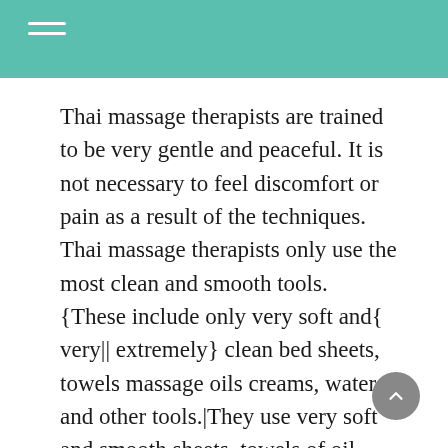Thai massage therapists are trained to be very gentle and peaceful. It is not necessary to feel discomfort or pain as a result of the techniques. Thai massage therapists only use the most clean and smooth tools. {These include only very soft and{ very|| extremely} clean bed sheets, towels massage oils creams, water, and other tools.|They use very soft and smooth sheets, towels of oil massage creams and oils along with water and other tools.} Thai massage therapists possess a excellent posture when they are required to